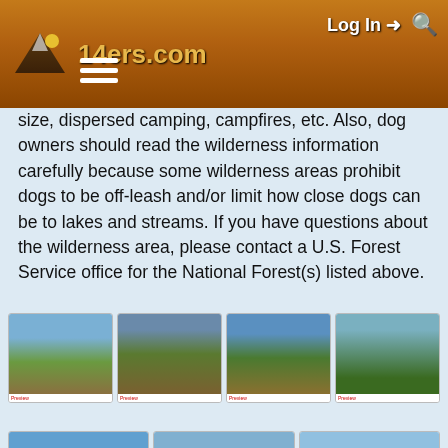14ers.com — Log In
size, dispersed camping, campfires, etc. Also, dog owners should read the wilderness information carefully because some wilderness areas prohibit dogs to be off-leash and/or limit how close dogs can be to lakes and streams. If you have questions about the wilderness area, please contact a U.S. Forest Service office for the National Forest(s) listed above.
[Figure (photo): Grid of trail and mountain photos from 14ers.com showing hiking trails, forest paths, and mountain ridges]
[Figure (photo): Second row of mountain photos showing open ridgelines and peaks]
[Figure (photo): Third row of mountain photos showing rocky peaks and summit approaches]
[Figure (photo): Partial fourth row of mountain photos]